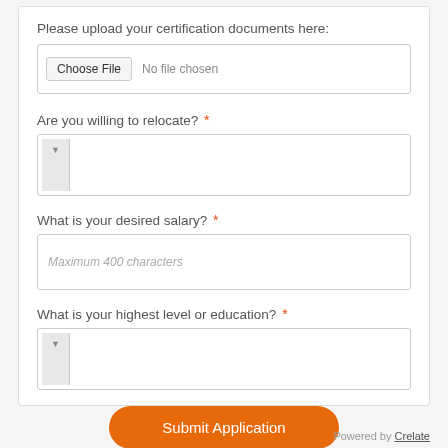Please upload your certification documents here:
[Figure (screenshot): File upload input showing 'Choose File' button and 'No file chosen' text]
Are you willing to relocate? *
[Figure (screenshot): Dropdown select box for relocation question]
What is your desired salary? *
[Figure (screenshot): Text input box with placeholder 'Maximum 400 characters']
What is your highest level or education? *
[Figure (screenshot): Dropdown select box for education level]
Submit Application
Powered by Crelate